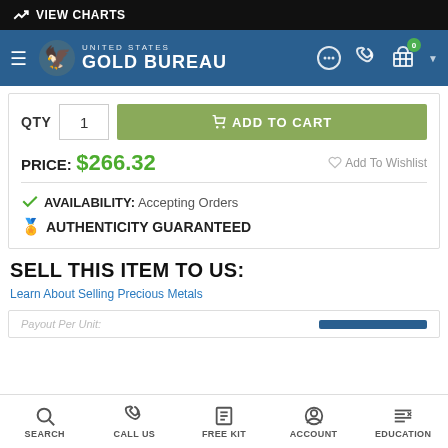VIEW CHARTS
[Figure (logo): United States Gold Bureau logo with eagle emblem]
QTY  1  ADD TO CART
PRICE: $266.32  Add To Wishlist
✔ AVAILABILITY: Accepting Orders
🏅 AUTHENTICITY GUARANTEED
SELL THIS ITEM TO US:
Learn About Selling Precious Metals
Payout Per Unit:
SEARCH  CALL US  FREE KIT  ACCOUNT  EDUCATION